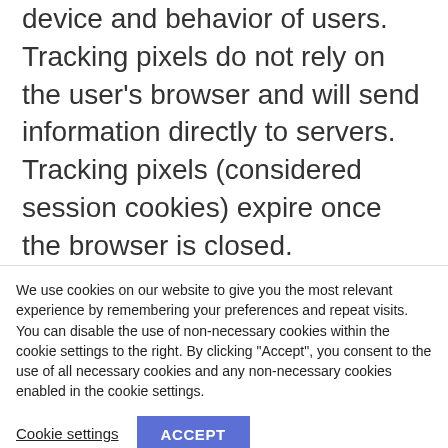device and behavior of users. Tracking pixels do not rely on the user's browser and will send information directly to servers. Tracking pixels (considered session cookies) expire once the browser is closed.
We use cookies on our website to give you the most relevant experience by remembering your preferences and repeat visits. You can disable the use of non-necessary cookies within the cookie settings to the right. By clicking "Accept", you consent to the use of all necessary cookies and any non-necessary cookies enabled in the cookie settings.
Cookie settings | ACCEPT